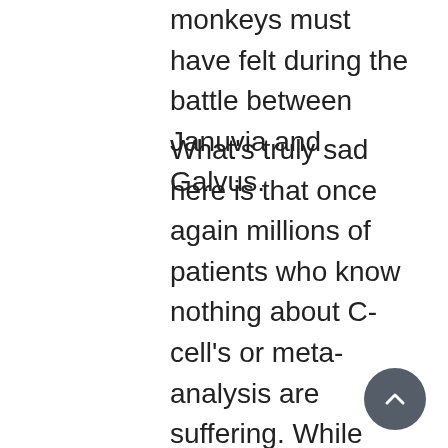monkeys must have felt during the battle between Januvia and Galvus.
What's truly sad here is that once again millions of patients who know nothing about C-cell's or meta-analysis are suffering. While academics, researchers, government bureaucrats and our elected officials' debate; the very patients who desperately need new therapy options and the physicians who treat them are left to fend for themselves. Instead of giving patients and physicians more weapons to fight diabetes, they are